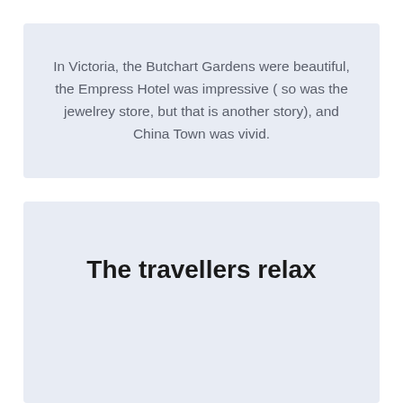In Victoria, the Butchart Gardens were beautiful, the Empress Hotel was impressive ( so was the jewelrey store, but that is another story), and China Town was vivid.
The travellers relax